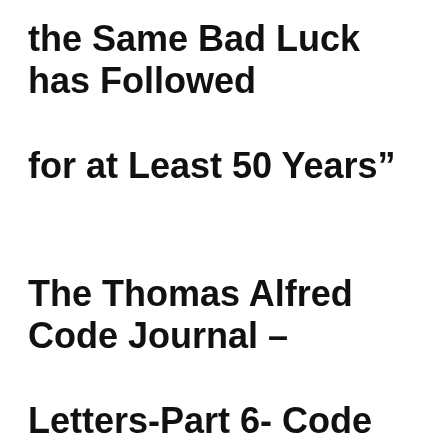the Same Bad Luck has Followed for at Least 50 Years" The Thomas Alfred Code Journal – Letters-Part 6- Code Family– "Almost everything of an industry trial character had vanished in